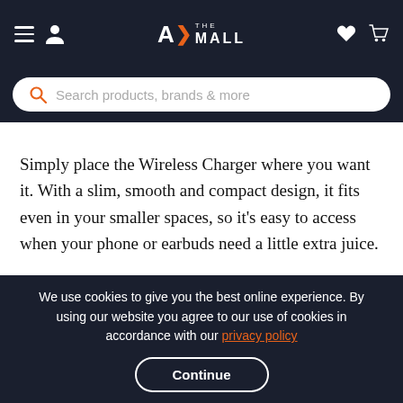A> THE MALL — navigation header with hamburger menu, user icon, logo, heart and cart icons
Search products, brands & more
Simply place the Wireless Charger where you want it. With a slim, smooth and compact design, it fits even in your smaller spaces, so it's easy to access when your phone or earbuds need a little extra juice.
— 01 + [heart] Add to Cart
We use cookies to give you the best online experience. By using our website you agree to our use of cookies in accordance with our privacy policy
Continue